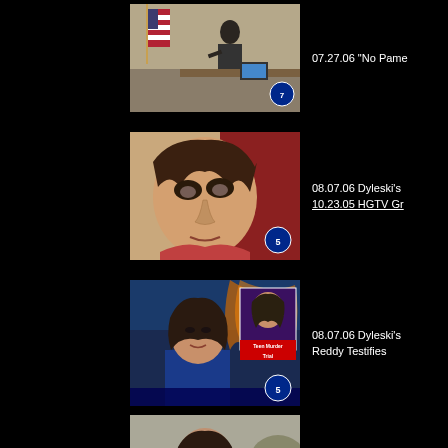[Figure (screenshot): Courtroom scene with man at podium, American flag in background, laptop visible]
07.27.06 "No Pame
[Figure (illustration): Court sketch of woman with dark hair and bruised/darkened eyes, red background]
08.07.06 Dyleski's
10.23.05 HGTV Gr
[Figure (screenshot): News anchor woman in blue jacket with inset photo of young man, Teen Murder Trial chyron]
08.07.06 Dyleski's
Reddy Testifies
[Figure (screenshot): Woman being interviewed, lower third reads Tamara Hill, Vitalie's Sister]
08.08.06 Pamela's
missing video file m